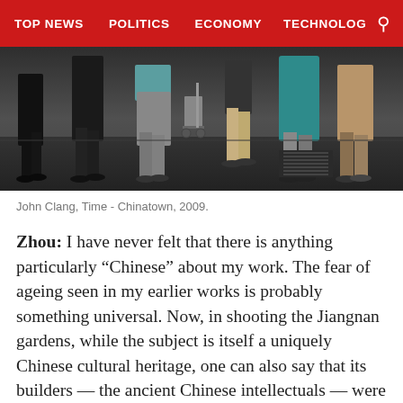TOP NEWS   POLITICS   ECONOMY   TECHNOLOG
[Figure (photo): Street-level photograph showing legs and lower bodies of multiple people walking on a city sidewalk, black and white with some color, Chinatown 2009]
John Clang, Time - Chinatown, 2009.
Zhou: I have never felt that there is anything particularly “Chinese” about my work. The fear of ageing seen in my earlier works is probably something universal. Now, in shooting the Jiangnan gardens, while the subject is itself a uniquely Chinese cultural heritage, one can also say that its builders — the ancient Chinese intellectuals — were a symbol of China’s elite